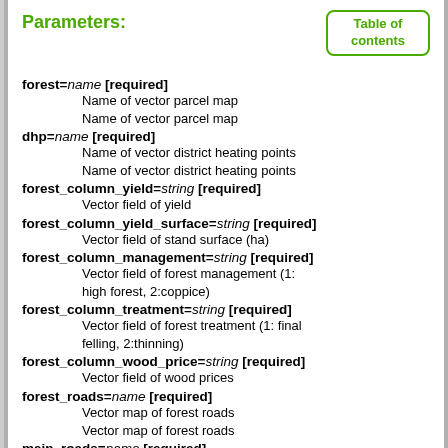Parameters:
forest=name [required]
    Name of vector parcel map
    Name of vector parcel map
dhp=name [required]
    Name of vector district heating points
    Name of vector district heating points
forest_column_yield=string [required]
    Vector field of yield
forest_column_yield_surface=string [required]
    Vector field of stand surface (ha)
forest_column_management=string [required]
    Vector field of forest management (1: high forest, 2:coppice)
forest_column_treatment=string [required]
    Vector field of forest treatment (1: final felling, 2:thinning)
forest_column_wood_price=string [required]
    Vector field of wood prices
forest_roads=name [required]
    Vector map of forest roads
    Vector map of forest roads
main_roads=name [required]